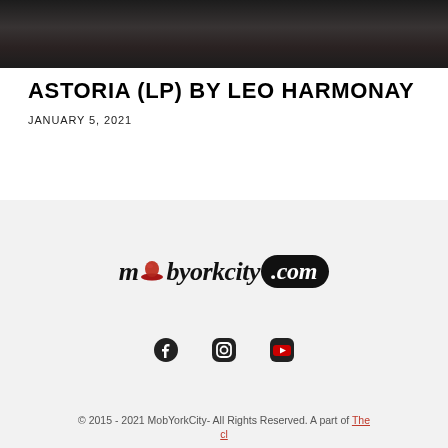[Figure (photo): Dark moody photo of people on a staircase or street scene, very low light]
ASTORIA (LP) BY LEO HARMONAY
JANUARY 5, 2021
[Figure (logo): MobYorkCity.com logo with red bowler hat replacing the 'o', italic serif font, .com in black rounded pill badge]
[Figure (infographic): Social media icons: Facebook, Instagram, YouTube]
© 2015 - 2021 MobYorkCity- All Rights Reserved. A part of The